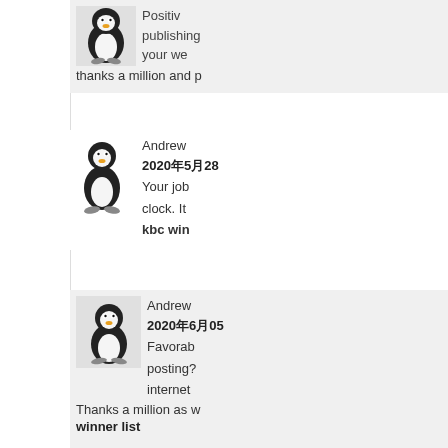publishing your we thanks a million and p
[Figure (illustration): Tux Linux penguin avatar in gray box]
Andrew 2020·5·28 Your job clock. It kbc win
[Figure (illustration): Tux Linux penguin avatar]
[Figure (illustration): Tux Linux penguin avatar in gray box]
Andrew 2020·6·05 Favorab posting? internet Thanks a million as w winner list